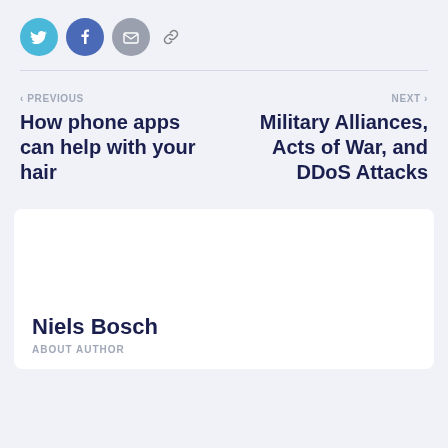[Figure (other): Social share buttons: Twitter (cyan circle), Facebook (blue circle), Email (gray circle), and a link/chain icon]
< PREVIOUS
How phone apps can help with your hair
NEXT >
Military Alliances, Acts of War, and DDoS Attacks
Niels Bosch
ABOUT AUTHOR